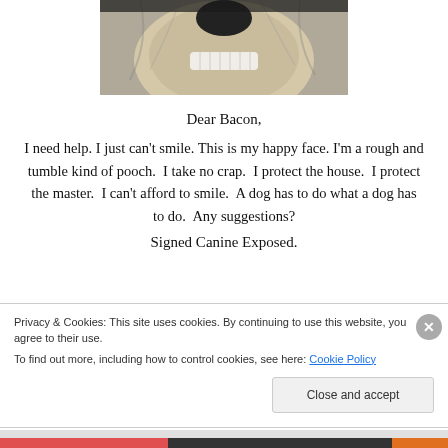[Figure (photo): Close-up photo of a scruffy dog baring its teeth in what appears to be a grin/smile, showing prominent white teeth, with shaggy fur around the face.]
Dear Bacon,
I need help. I just can't smile. This is my happy face. I'm a rough and tumble kind of pooch.  I take no crap.  I protect the house.  I protect the master.  I can't afford to smile.  A dog has to do what a dog has to do.  Any suggestions?
Signed Canine Exposed.
Privacy & Cookies: This site uses cookies. By continuing to use this website, you agree to their use.
To find out more, including how to control cookies, see here: Cookie Policy
Close and accept